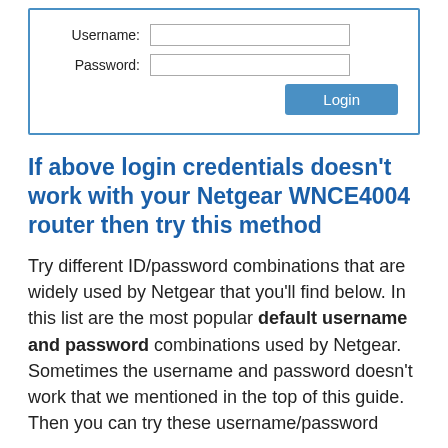[Figure (screenshot): A login form with Username and Password fields and a Login button, inside a blue-bordered box.]
If above login credentials doesn't work with your Netgear WNCE4004 router then try this method
Try different ID/password combinations that are widely used by Netgear that you'll find below. In this list are the most popular default username and password combinations used by Netgear. Sometimes the username and password doesn't work that we mentioned in the top of this guide. Then you can try these username/password